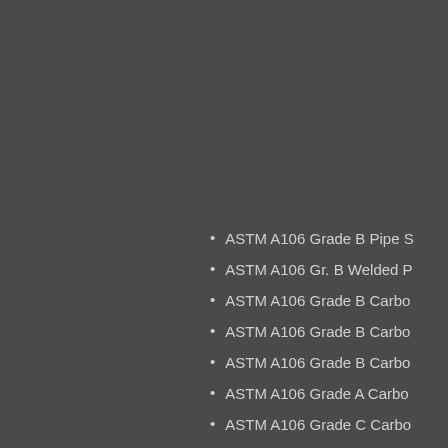ASTM A106 Grade B Pipe S
ASTM A106 Gr. B Welded P
ASTM A106 Grade B Carbo
ASTM A106 Grade B Carbo
ASTM A106 Grade B Carbo
ASTM A106 Grade A Carbo
ASTM A106 Grade C Carbo
ASTM A106 Grade b SCH40
8 inch astm a106 seamless
Construction Material ASTM
A106 B Carbon Steel Seam
5 inch ERW pipe A106 carb
3/4 inch Steel Pipe ASTM A
SCH40 Fluid Transportation